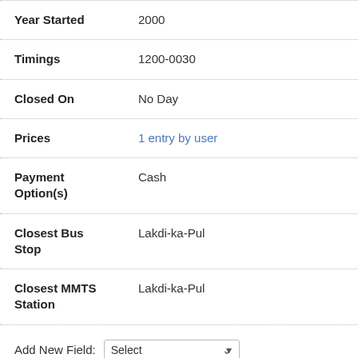| Field | Value |
| --- | --- |
| Year Started | 2000 |
| Timings | 1200-0030 |
| Closed On | No Day |
| Prices | 1 entry by user |
| Payment Option(s) | Cash |
| Closest Bus Stop | Lakdi-ka-Pul |
| Closest MMTS Station | Lakdi-ka-Pul |
Add New Field: Select